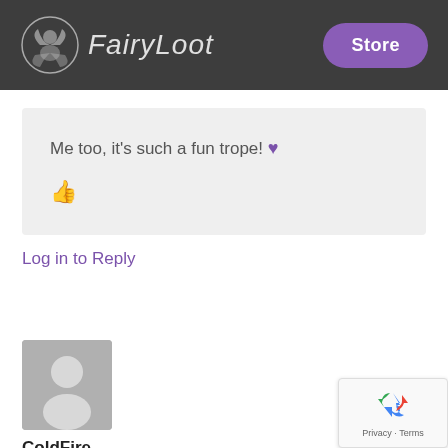FairyLoot | Store
Me too, it's such a fun trope! 💜 👍
Log in to Reply
[Figure (photo): Default user avatar: grey circle head silhouette on grey background]
ColdFire
15th December 2021
[Figure (logo): Google reCAPTCHA badge with recycling icon arrows and Privacy · Terms text]